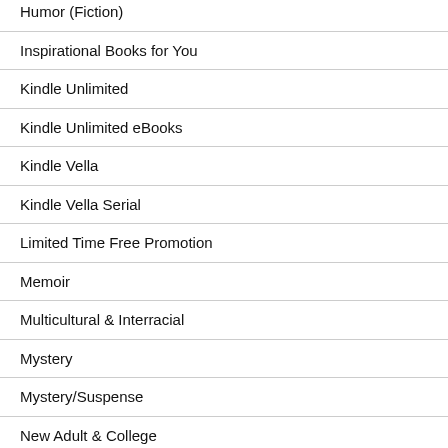Humor (Fiction)
Inspirational Books for You
Kindle Unlimited
Kindle Unlimited eBooks
Kindle Vella
Kindle Vella Serial
Limited Time Free Promotion
Memoir
Multicultural & Interracial
Mystery
Mystery/Suspense
New Adult & College
Nonfiction Audio Books